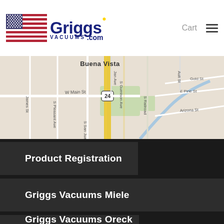[Figure (logo): Griggs Vacuums logo with American flag and brand name in dark blue with yellow dot above 'i' and 'vacuums.com' text]
Cart
[Figure (map): Street map showing Buena Vista area with streets including W Main St, S San Juan Ave, S Gumison Ave, S Railroad, James St, S Pleasant Ave, Gold St, E Pine St, Arizona St, with highway 24 running vertically]
Product Registration
Griggs Vacuums Miele
Griggs Vacuums Oreck